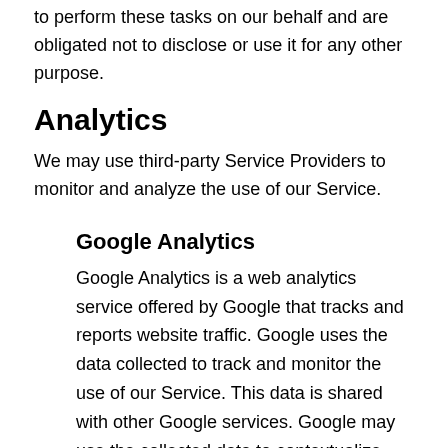to perform these tasks on our behalf and are obligated not to disclose or use it for any other purpose.
Analytics
We may use third-party Service Providers to monitor and analyze the use of our Service.
Google Analytics
Google Analytics is a web analytics service offered by Google that tracks and reports website traffic. Google uses the data collected to track and monitor the use of our Service. This data is shared with other Google services. Google may use the collected data to contextualize and personalize the ads of its own advertising network.